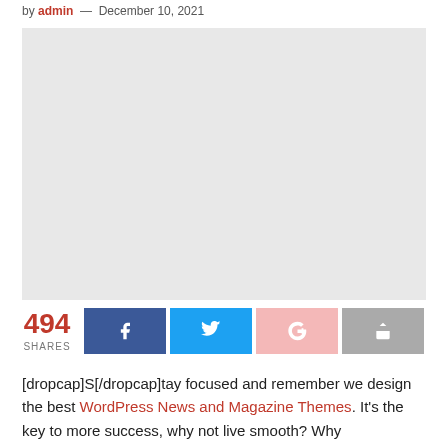by admin — December 10, 2021
[Figure (photo): Large gray placeholder image for article featured photo]
494 SHARES [social share buttons: Facebook, Twitter, Google+, Share]
[dropcap]S[/dropcap]tay focused and remember we design the best WordPress News and Magazine Themes. It's the key to more success, why not live smooth? Why